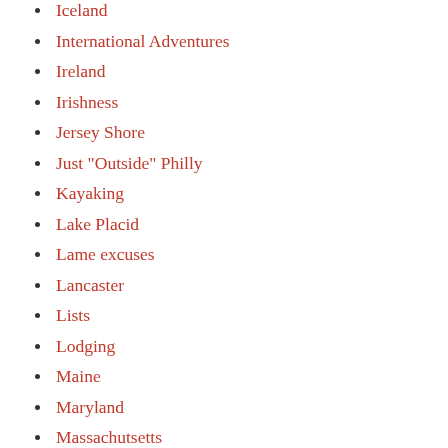Iceland
International Adventures
Ireland
Irishness
Jersey Shore
Just "Outside" Philly
Kayaking
Lake Placid
Lame excuses
Lancaster
Lists
Lodging
Maine
Maryland
Massachutsetts
Monumental Posts
Music